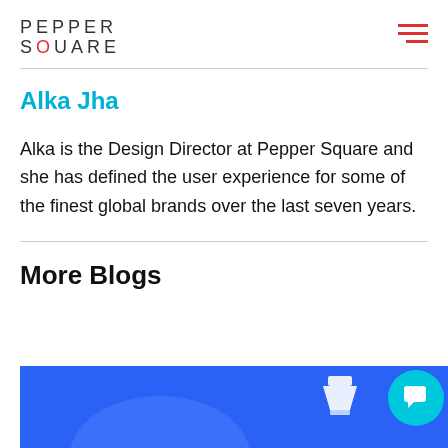PEPPER SQUARE
Alka Jha
Alka is the Design Director at Pepper Square and she has defined the user experience for some of the finest global brands over the last seven years.
More Blogs
[Figure (illustration): Blue banner with a funnel/ship icon and a circular lighter blue shape, partially visible at the bottom of the page.]